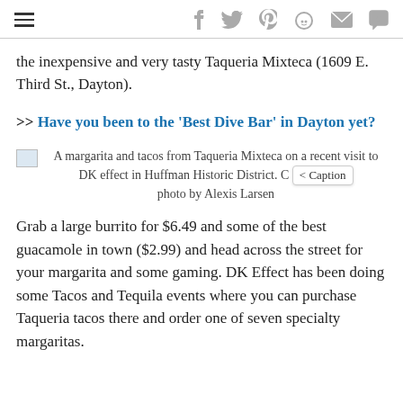[hamburger menu] [social icons: facebook, twitter, pinterest, reddit, email, comment]
the inexpensive and very tasty Taqueria Mixteca (1609 E. Third St., Dayton).
>> Have you been to the 'Best Dive Bar' in Dayton yet?
A margarita and tacos from Taqueria Mixteca on a recent visit to DK effect in Huffman Historic District. C < Caption  photo by Alexis Larsen
Grab a large burrito for $6.49 and some of the best guacamole in town ($2.99) and head across the street for your margarita and some gaming. DK Effect has been doing some Tacos and Tequila events where you can purchase Taqueria tacos there and order one of seven specialty margaritas.